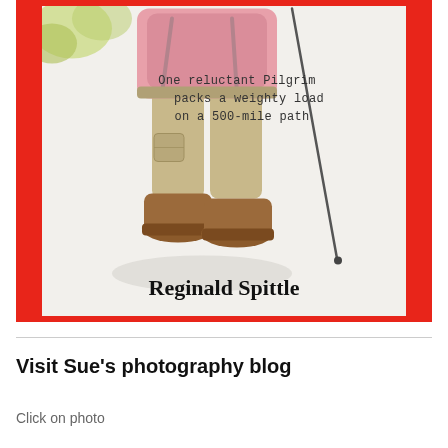[Figure (illustration): Book cover with red border showing a watercolor illustration of a pilgrim from the waist down, wearing beige cargo shorts, a pink shirt, brown hiking boots, and holding a walking stick. Text reads 'One reluctant Pilgrim packs a weighty load on a 500-mile path' and author name 'Reginald Spittle' at the bottom.]
Visit Sue's photography blog
Click on photo